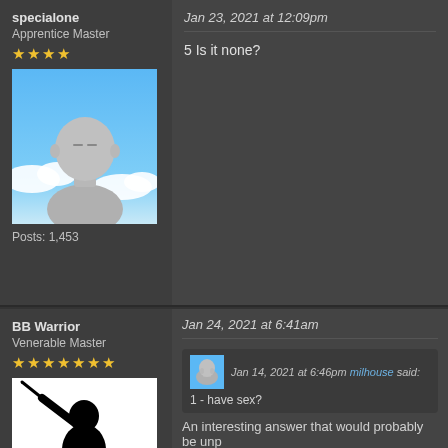specialone
Apprentice Master
★★★★
[Figure (illustration): Default forum avatar showing a grey humanoid figure against a blue sky background with clouds]
Posts: 1,453
Jan 23, 2021 at 12:09pm
5 Is it none?
BB Warrior
Venerable Master
★★★★★★★
[Figure (illustration): Silhouette of a ninja/samurai figure with a sword against a white background, with a small grid icon in bottom right corner]
Jan 24, 2021 at 6:41am
Jan 14, 2021 at 6:46pm milhouse said:
1 - have sex?
An interesting answer that would probably be unp